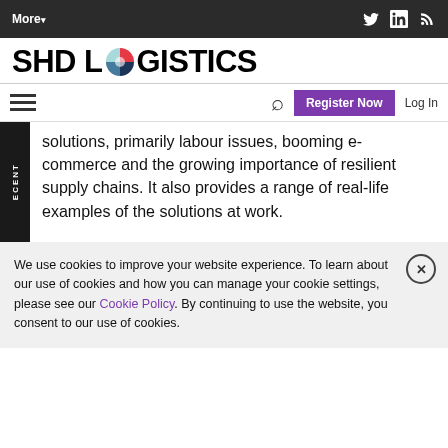More ▾  [Twitter] [LinkedIn] [RSS]
[Figure (logo): SHD Logistics logo with colorful circular icon between SHD and LOGISTICS text]
☰  🔍  Register Now  Log In
solutions, primarily labour issues, booming e-commerce and the growing importance of resilient supply chains. It also provides a range of real-life examples of the solutions at work.
We use cookies to improve your website experience. To learn about our use of cookies and how you can manage your cookie settings, please see our Cookie Policy. By continuing to use the website, you consent to our use of cookies.